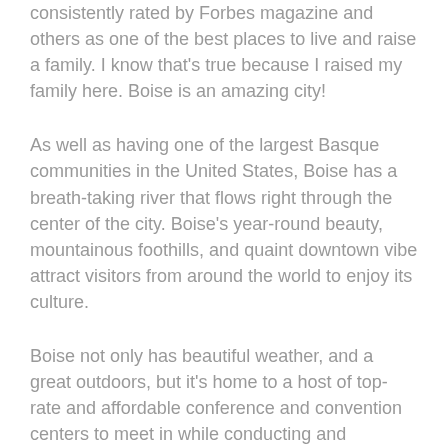consistently rated by Forbes magazine and others as one of the best places to live and raise a family. I know that's true because I raised my family here. Boise is an amazing city!
As well as having one of the largest Basque communities in the United States, Boise has a breath-taking river that flows right through the center of the city. Boise's year-round beauty, mountainous foothills, and quaint downtown vibe attract visitors from around the world to enjoy its culture.
Boise not only has beautiful weather, and a great outdoors, but it's home to a host of top-rate and affordable conference and convention centers to meet in while conducting and gathering for